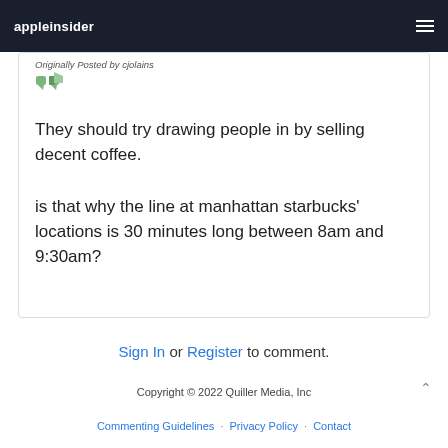appleinsider
Originally Posted by cjolains
They should try drawing people in by selling decent coffee.
is that why the line at manhattan starbucks' locations is 30 minutes long between 8am and 9:30am?
Sign In or Register to comment.
Copyright © 2022 Quiller Media, Inc
Commenting Guidelines · Privacy Policy · Contact